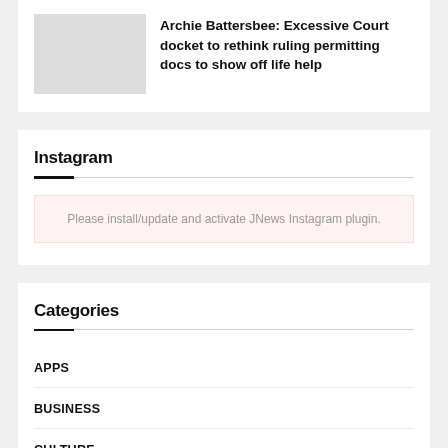[Figure (photo): Thumbnail image placeholder (gray rectangle)]
Archie Battersbee: Excessive Court docket to rethink ruling permitting docs to show off life help
Instagram
Please install/update and activate JNews Instagram plugin.
Categories
APPS
BUSINESS
CULTURE